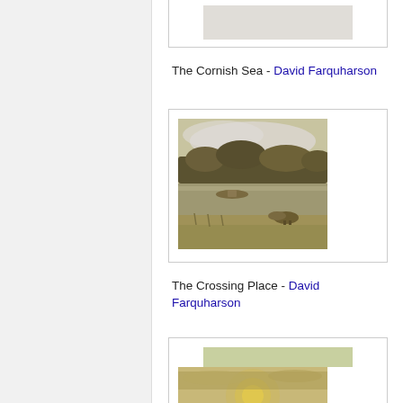[Figure (illustration): Partially visible painting card for 'The Cornish Sea' by David Farquharson - top portion cut off at top of page]
The Cornish Sea - David Farquharson
[Figure (illustration): Painting 'The Crossing Place' by David Farquharson - landscape scene with river, trees, and cattle]
The Crossing Place - David Farquharson
[Figure (illustration): Painting partially visible at bottom of page - flat landscape with canal/path and sunset sky, by David Farquharson]